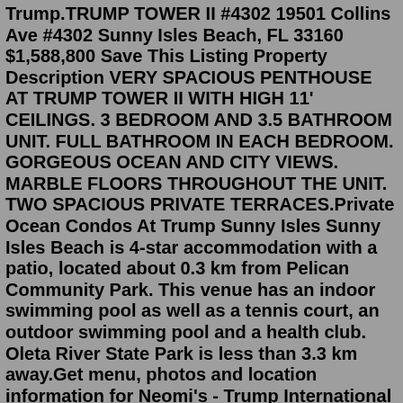Trump.TRUMP TOWER II #4302 19501 Collins Ave #4302 Sunny Isles Beach, FL 33160 $1,588,800 Save This Listing Property Description VERY SPACIOUS PENTHOUSE AT TRUMP TOWER II WITH HIGH 11' CEILINGS. 3 BEDROOM AND 3.5 BATHROOM UNIT. FULL BATHROOM IN EACH BEDROOM. GORGEOUS OCEAN AND CITY VIEWS. MARBLE FLOORS THROUGHOUT THE UNIT. TWO SPACIOUS PRIVATE TERRACES.Private Ocean Condos At Trump Sunny Isles Sunny Isles Beach is 4-star accommodation with a patio, located about 0.3 km from Pelican Community Park. This venue has an indoor swimming pool as well as a tennis court, an outdoor swimming pool and a health club. Oleta River State Park is less than 3.3 km away.Get menu, photos and location information for Neomi's - Trump International Beach Resort - Permanently Closed in Sunny Isles Beach, FL. Or book now at one of our other 4156 great restaurants in Sunny Isles Beach.The area of Sunny Isles Beach, Florida has become one of the most sought after locations when it